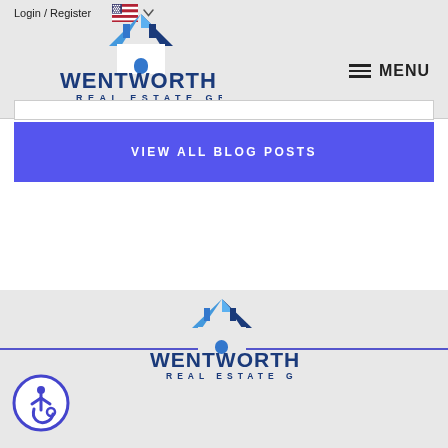Login / Register
[Figure (logo): Wentworth Real Estate Group logo with house roofline icon, top navigation area]
MENU
VIEW ALL BLOG POSTS
[Figure (logo): Wentworth Real Estate Group logo with house roofline icon, footer area]
[Figure (illustration): Accessibility icon - person in wheelchair in circular blue badge]